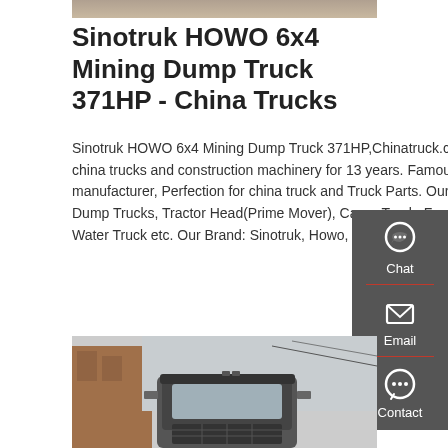[Figure (photo): Top partial image, sandy/concrete surface]
Sinotruk HOWO 6x4 Mining Dump Truck 371HP - China Trucks
Sinotruk HOWO 6x4 Mining Dump Truck 371HP,Chinatruck.cc is Exporting china trucks and construction machinery for 13 years. Famous Chinese truck manufacturer, Perfection for china truck and Truck Parts. Our Main products: Dump Trucks, Tractor Head(Prime Mover), Cargo Truck, Fuel Tanker Truck, Water Truck etc. Our Brand: Sinotruk, Howo, Shacman, Beiben, Faw Jiefang
GET A QUOTE
[Figure (infographic): Sidebar with Chat, Email, Contact buttons on dark grey background]
[Figure (photo): Bottom partial image of a truck cab front view, building in background]